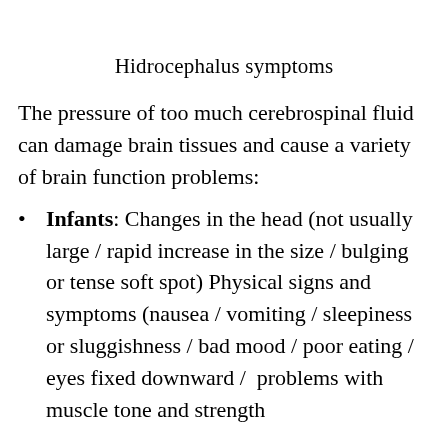Hidrocephalus symptoms
The pressure of too much cerebrospinal fluid can damage brain tissues and cause a variety of brain function problems:
Infants: Changes in the head (not usually large / rapid increase in the size / bulging or tense soft spot) Physical signs and symptoms (nausea / vomiting / sleepiness or sluggishness / bad mood / poor eating / eyes fixed downward /  problems with muscle tone and strength